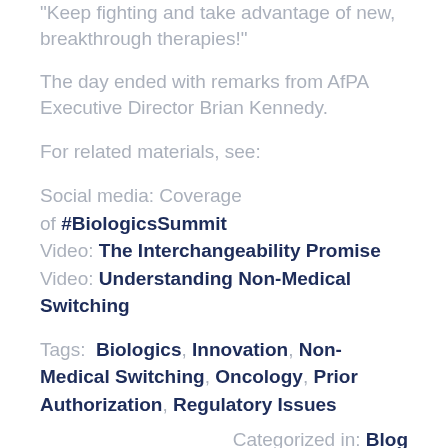"Keep fighting and take advantage of new, breakthrough therapies!"
The day ended with remarks from AfPA Executive Director Brian Kennedy.
For related materials, see:
Social media: Coverage of #BiologicsSummit
Video: The Interchangeability Promise
Video: Understanding Non-Medical Switching
Tags: Biologics, Innovation, Non-Medical Switching, Oncology, Prior Authorization, Regulatory Issues
Categorized in: Blog